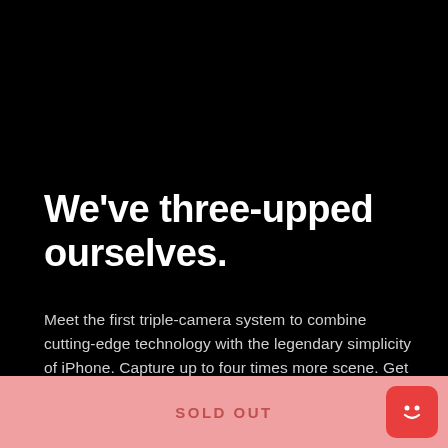[Figure (photo): Top portion of a dark green/midnight green iPhone 11 Pro shown from behind, cropped to show upper half of the device against a black background.]
We’ve three-upped ourselves.
Meet the first triple-camera system to combine cutting-edge technology with the legendary simplicity of iPhone. Capture up to four times more scene. Get beautiful images in drastically lower light.
SOLD OUT
[Figure (illustration): Red rounded square chat bubble icon with a simple smiley face, representing a chat/support widget.]